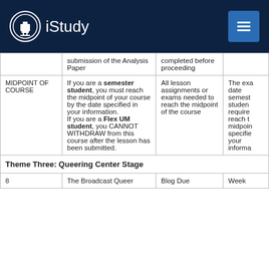iStudy
|  |  |  |  |
| --- | --- | --- | --- |
|  | submission of the Analysis Paper | completed before proceeding |  |
| MIDPOINT OF COURSE | If you are a semester student, you must reach the midpoint of your course by the date specified in your information. If you are a Flex UM student, you CANNOT WITHDRAW from this course after the lesson has been submitted. | All lesson assignments or exams needed to reach the midpoint of the course | The exact date semester students are required to reach the midpoint is specified in your information. |
| Theme Three: Queering Center Stage |  |  |  |
| 8 | The Broadcast Queer | Blog Due | Week |